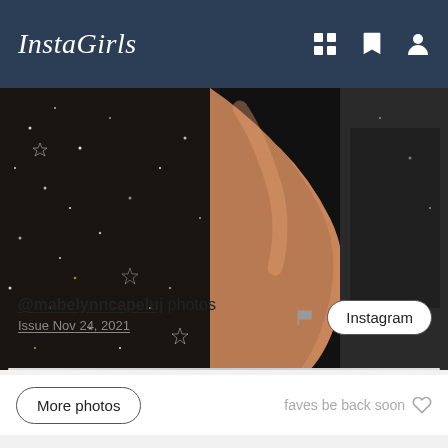InstaGirls
[Figure (photo): Close-up photo of a person's arm/shoulder area against a dark sparkly background with star patterns. A small tattoo is visible on the wrist area.]
More photos
faves be back soon ♡
@mabelynncapeluj photos
Issue Nov 24, 2021
Instagram